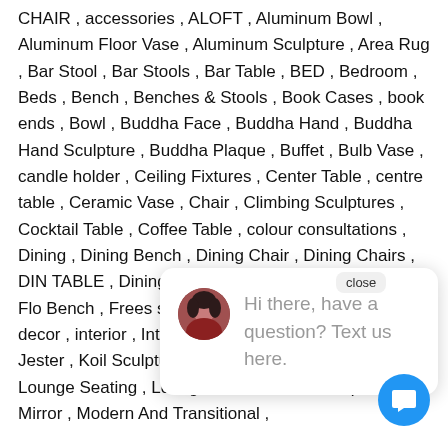CHAIR , accessories , ALOFT , Aluminum Bowl , Aluminum Floor Vase , Aluminum Sculpture , Area Rug , Bar Stool , Bar Stools , Bar Table , BED , Bedroom , Beds , Bench , Benches & Stools , Book Cases , book ends , Bowl , Buddha Face , Buddha Hand , Buddha Hand Sculpture , Buddha Plaque , Buffet , Bulb Vase , candle holder , Ceiling Fixtures , Center Table , centre table , Ceramic Vase , Chair , Climbing Sculptures , Cocktail Table , Coffee Table , colour consultations , Dining , Dining Bench , Dining Chair , Dining Chairs , DIN [close] TABLE , Dining Ta Sculpture , feng Floor Lamps , Flo Bench , Frees sto furniture store , G s Vase , home decor , interior , Interior Design , interior designer , Jester , Koil Sculpture , Loop Sculpture Lounge Chair , Lounge Seating , Lounger , Lunar Male Sculpture , Mirror , Modern And Transitional ,
[Figure (screenshot): Chat widget popup overlay showing a circular avatar photo of a woman with dark hair wearing a red top, and text reading 'Hi there, have a question? Text us here.' in gray. A 'close' badge appears at the top right of the overlay. A blue circular chat button with a speech bubble icon appears at the bottom right of the page.]